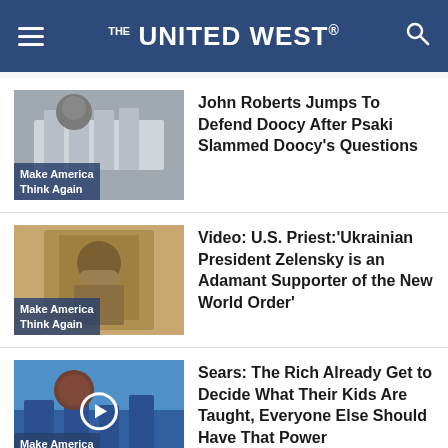THE UNITED WEST
John Roberts Jumps To Defend Doocy After Psaki Slammed Doocy's Questions
Video: U.S. Priest:'Ukrainian President Zelensky is an Adamant Supporter of the New World Order'
Sears: The Rich Already Get to Decide What Their Kids Are Taught, Everyone Else Should Have That Power
The Nihilism of the Left